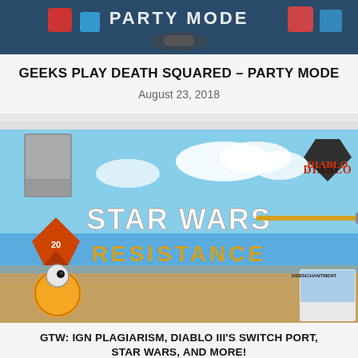[Figure (photo): Party Mode video game screenshot with colorful blocks and dice on dark background]
GEEKS PLAY DEATH SQUARED – PARTY MODE
August 23, 2018
[Figure (photo): Collage image featuring Star Wars Resistance logo, BB-8 droid, Diablo game logo, Magic: The Gathering card, D20 dice, and Disenchantment comic/show cover]
GTW: IGN PLAGIARISM, DIABLO III'S SWITCH PORT, STAR WARS, AND MORE!